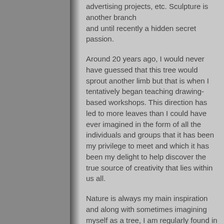advertising projects, etc. Sculpture is another branch and until recently a hidden secret passion.
Around 20 years ago, I would never have guessed that this tree would sprout another limb but that is when I tentatively began teaching drawing-based workshops. This direction has led to more leaves than I could have ever imagined in the form of all the individuals and groups that it has been my privilege to meet and which it has been my delight to help discover the true source of creativity that lies within us all.
Nature is always my main inspiration and along with sometimes imagining myself as a tree, I am regularly found in the forest exploring stillness of the mind and connecting with the wildlife. Oh, and another new branch is now playing the bagpipes...
Peace and love, Cliff